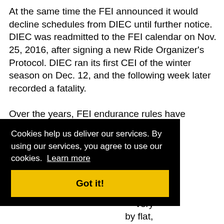At the same time the FEI announced it would decline schedules from DIEC until further notice. DIEC was readmitted to the FEI calendar on Nov. 25, 2016, after signing a new Ride Organizer's Protocol. DIEC ran its first CEI of the winter season on Dec. 12, and the following week later recorded a fatality.

Over the years, FEI endurance rules have been ... has ... dle ... rned ... very ... by flat, firm graded pistes to encourage maximum speed. A
Cookies help us deliver our services. By using our services, you agree to use our cookies. Learn more
Got it!